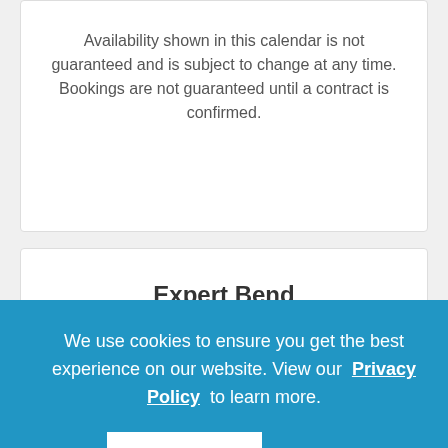Availability shown in this calendar is not guaranteed and is subject to change at any time. Bookings are not guaranteed until a contract is confirmed.
Expert Bend Vacation Advice
We use cookies to ensure you get the best experience on our website. View our Privacy Policy to learn more.
Got it!
(844) 226-7164